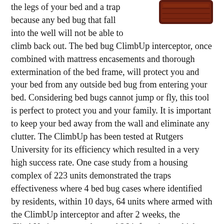[Figure (photo): A dark brown/maroon rectangular ClimbUp bed bug interceptor trap product shown in upper right corner]
the legs of your bed and a trap because any bed bug that fall into the well will not be able to climb back out. The bed bug ClimbUp interceptor, once combined with mattress encasements and thorough extermination of the bed frame, will protect you and your bed from any outside bed bug from entering your bed. Considering bed bugs cannot jump or fly, this tool is perfect to protect you and your family. It is important to keep your bed away from the wall and eliminate any clutter. The ClimbUp has been tested at Rutgers University for its efficiency which resulted in a very high success rate. One case study from a housing complex of 223 units demonstrated the traps effectiveness where 4 bed bug cases where identified by residents, within 10 days, 64 units where armed with the ClimbUp interceptor and after 2 weeks, the ClimbUp interceptor detected 26 infestations which were missed by visual inspections.
To sum it all up, these bed bug traps allow an inexperienced bed bug victim to detect bed bugs without any formal training. They also measure low level infestations and are